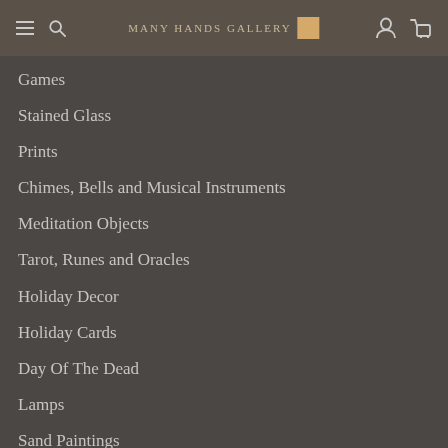Many Hands Gallery
Games
Stained Glass
Prints
Chimes, Bells and Musical Instruments
Meditation Objects
Tarot, Runes and Oracles
Holiday Decor
Holiday Cards
Day Of The Dead
Lamps
Sand Paintings
Be My Valentine!
Haitian Steel Drum Art
Alebrijes
Father's Day Gifts